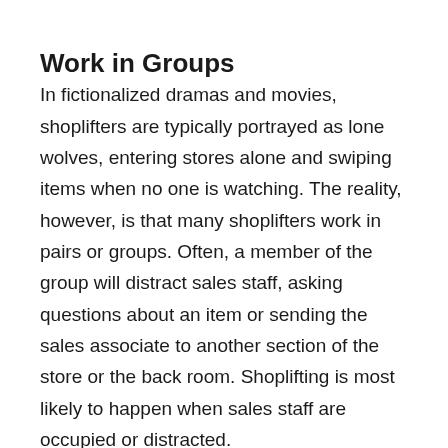Work in Groups
In fictionalized dramas and movies, shoplifters are typically portrayed as lone wolves, entering stores alone and swiping items when no one is watching. The reality, however, is that many shoplifters work in pairs or groups. Often, a member of the group will distract sales staff, asking questions about an item or sending the sales associate to another section of the store or the back room. Shoplifting is most likely to happen when sales staff are occupied or distracted.